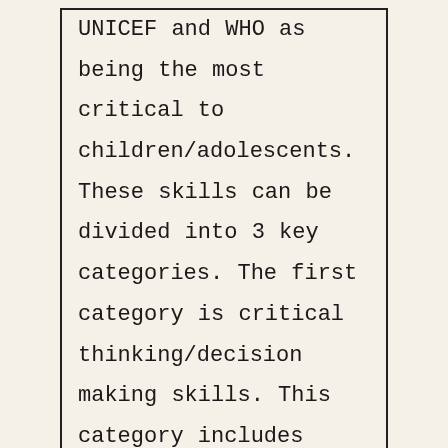UNICEF and WHO as being the most critical to children/adolescents. These skills can be divided into 3 key categories. The first category is critical thinking/decision making skills. This category includes problem solving skills. The second category focuses on the importance of developing inter and intra